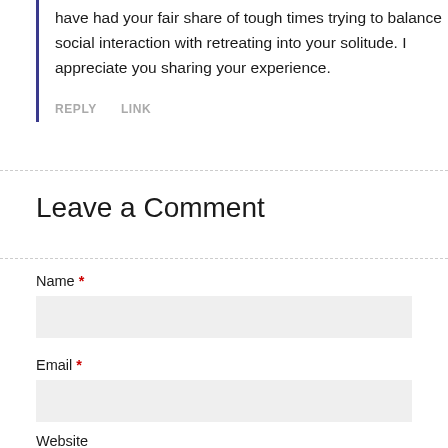have had your fair share of tough times trying to balance social interaction with retreating into your solitude. I appreciate you sharing your experience.
REPLY   LINK
Leave a Comment
Name *
Email *
Website